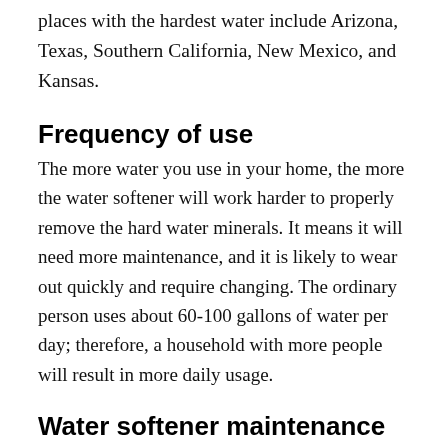places with the hardest water include Arizona, Texas, Southern California, New Mexico, and Kansas.
Frequency of use
The more water you use in your home, the more the water softener will work harder to properly remove the hard water minerals. It means it will need more maintenance, and it is likely to wear out quickly and require changing. The ordinary person uses about 60-100 gallons of water per day; therefore, a household with more people will result in more daily usage.
Water softener maintenance
How properly and how often you service your water softener will affect its longevity. You should inspect